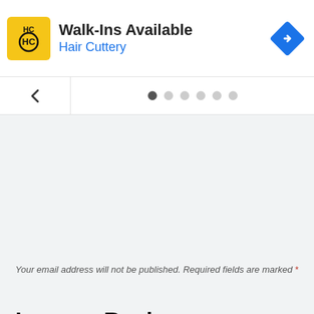[Figure (screenshot): Advertisement banner for Hair Cuttery showing logo, 'Walk-Ins Available' text, Hair Cuttery name in blue, and a blue navigation/directions icon on the right.]
[Figure (screenshot): Carousel pagination bar with a back arrow chevron on the left and six pagination dots (first filled dark, rest gray).]
Leave a Reply
Your email address will not be published. Required fields are marked *
Comment *